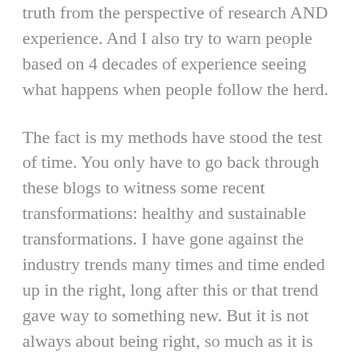truth from the perspective of research AND experience. And I also try to warn people based on 4 decades of experience seeing what happens when people follow the herd.
The fact is my methods have stood the test of time. You only have to go back through these blogs to witness some recent transformations: healthy and sustainable transformations. I have gone against the industry trends many times and time ended up in the right, long after this or that trend gave way to something new. But it is not always about being right, so much as it is about doing right. Speaking out against keto-diet nonsense is just the right thing to do, regardless